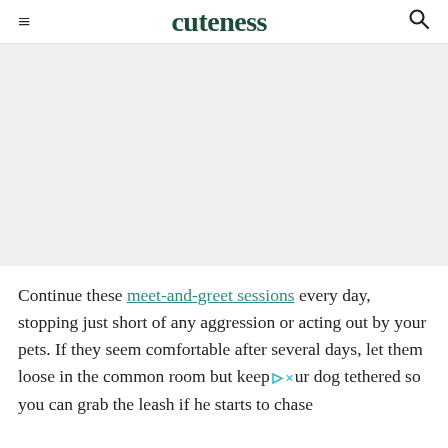cuteness
[Figure (photo): Gray placeholder image area representing a photo on the cuteness.com article page]
Continue these meet-and-greet sessions every day, stopping just short of any aggression or acting out by your pets. If they seem comfortable after several days, let them loose in the common room but keep your dog tethered so you can grab the leash if he starts to chase